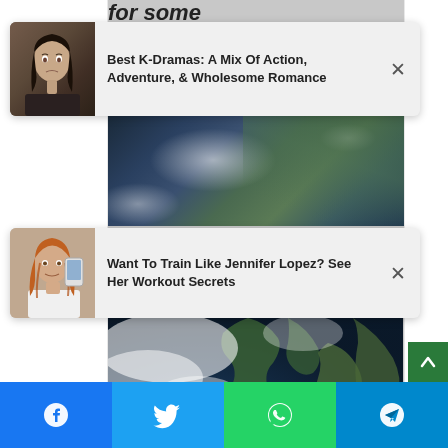for some
[Figure (other): Advertisement card: Best K-Dramas: A Mix Of Action, Adventure, & Wholesome Romance with thumbnail of Asian actress]
[Figure (other): Advertisement card: Want To Train Like Jennifer Lopez? See Her Workout Secrets with thumbnail of Jennifer Lopez]
[Figure (photo): Satellite image of UK and Western Europe from space showing cloud cover and land. Label: Latest satellite image. Credit: Image Crown copyright, Met Office. Satellite data: EUMETSAT. Background data: NASA Earth Observatory.]
12:17 PM · Mar 21, 2022
Facebook | Twitter | WhatsApp | Telegram social share buttons